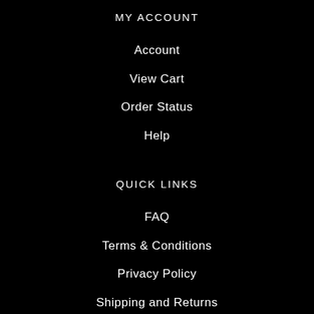MY ACCOUNT
Account
View Cart
Order Status
Help
QUICK LINKS
FAQ
Terms & Conditions
Privacy Policy
Shipping and Returns